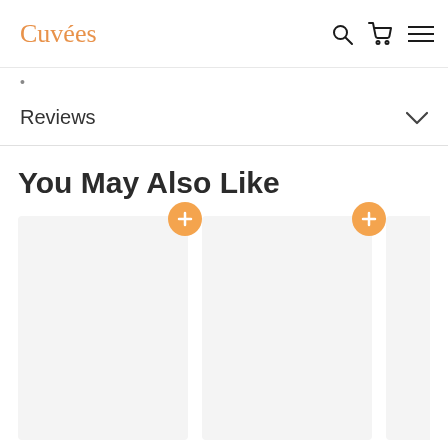Cuvées
Reviews
You May Also Like
[Figure (screenshot): Two product card placeholders with orange plus-sign add buttons, partially visible third card on the right edge]